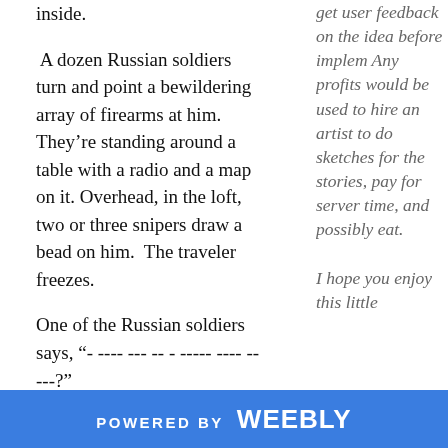inside.

 A dozen Russian soldiers turn and point a bewildering array of firearms at him.  They’re standing around a table with a radio and a map on it. Overhead, in the loft, two or three snipers draw a bead on him.  The traveler freezes.

One of the Russian soldiers says, “- ---- --- -- - ----- ---- -----?”

The traveler gingerly raises his hands, and pulls
get user feedback on the idea before implem Any profits would be used to hire an artist to do sketches for the stories, pay for server time, and possibly eat.

I hope you enjoy this little
POWERED BY weebly